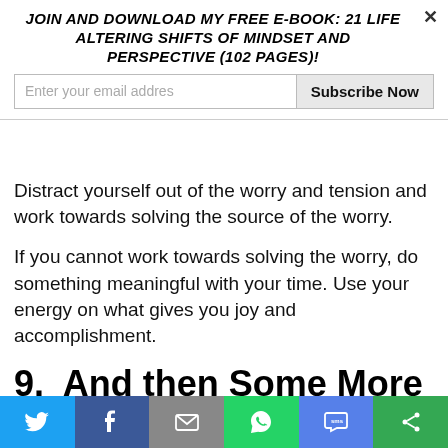Join and download my free e-book: 21 Life Altering Shifts Of Mindset And Perspective (102 pages)!
Distract yourself out of the worry and tension and work towards solving the source of the worry.
If you cannot work towards solving the worry, do something meaningful with your time. Use your energy on what gives you joy and accomplishment.
9.  And then Some More on Love
“We are people who need to love
Twitter | Facebook | Email | WhatsApp | SMS | Share